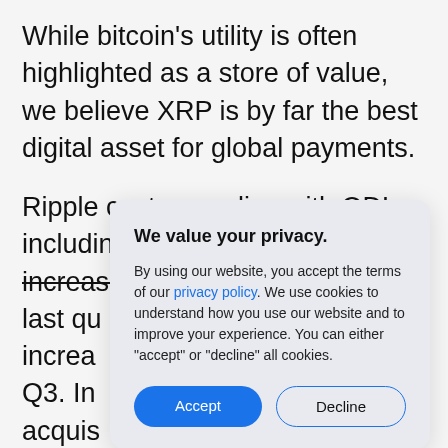While bitcoin's utility is often highlighted as a store of value, we believe XRP is by far the best digital asset for global payments.
Ripple customers live with ODL, including MoneyGram and others, increased by 75% last qu... increa... Q3. In... acquis... ongoir... with st... rapidly... —Icela... engineering hubs with plans to bring on more technical talent in Europe.
We value your privacy.

By using our website, you accept the terms of our privacy policy. We use cookies to understand how you use our website and to improve your experience. You can either "accept" or "decline" all cookies.